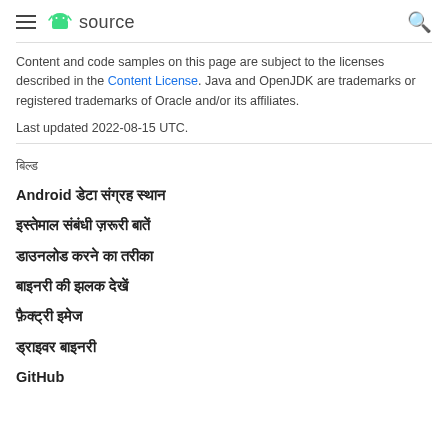≡ 🤖 source 🔍
Content and code samples on this page are subject to the licenses described in the Content License. Java and OpenJDK are trademarks or registered trademarks of Oracle and/or its affiliates.
Last updated 2022-08-15 UTC.
बिल्ड
Android डेटा संग्रह स्थान
इस्तेमाल संबंधी ज़रूरी बातें
डाउनलोड करने का तरीका
बाइनरी की झलक देखें
फ़ैक्ट्री इमेज
ड्राइवर बाइनरी
GitHub